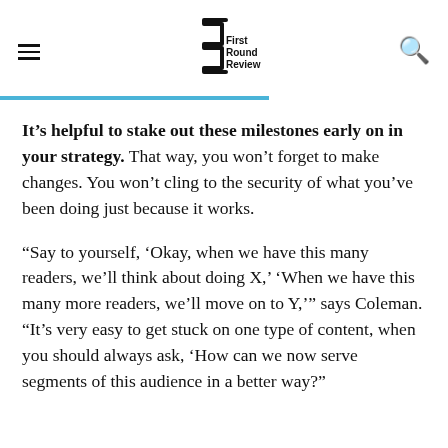First Round Review
It’s helpful to stake out these milestones early on in your strategy. That way, you won’t forget to make changes. You won’t cling to the security of what you’ve been doing just because it works.
“Say to yourself, ‘Okay, when we have this many readers, we’ll think about doing X,’ ‘When we have this many more readers, we’ll move on to Y,’” says Coleman. “It’s very easy to get stuck on one type of content, when you should always ask, ‘How can we now serve segments of this audience in a better way?”